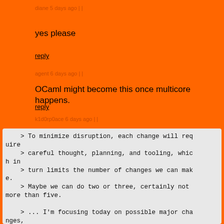diane 5 days ago | |
yes please
reply
agent 6 days ago | |
OCaml might become this once multicore happens.
reply
k1d0rp0ace 6 days ago | |
> To minimize disruption, each change will require
    > careful thought, planning, and tooling, which in
    > turn limits the number of changes we can make.
    > Maybe we can do two or three, certainly not more than five.

    > ... I'm focusing today on possible major changes,
    > such as additional support for error handlin